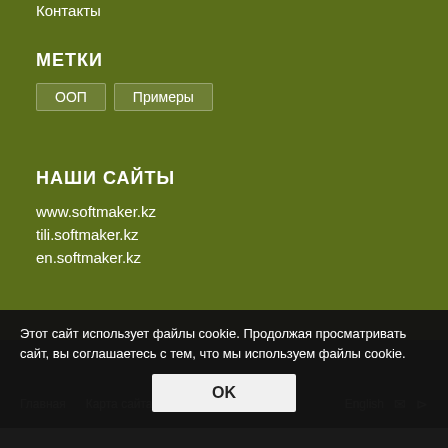Контакты
МЕТКИ
ООП
Примеры
НАШИ САЙТЫ
www.softmaker.kz
tili.softmaker.kz
en.softmaker.kz
Этот сайт использует файлы cookie. Продолжая просматривать сайт, вы соглашаетесь с тем, что мы используем файлы cookie.
OK
Главная  Карта сайта  English